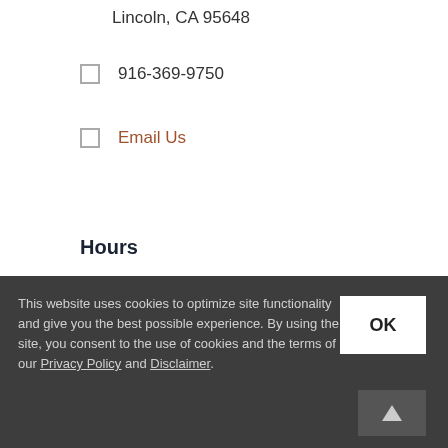Lincoln, CA 95648
916-369-9750
Email Us
Hours
Mon: 8am – 5pm
Tue: 8am – 5pm
Wed: 8am – 5pm
This website uses cookies to optimize site functionality and give you the best possible experience. By using the site, you consent to the use of cookies and the terms of our Privacy Policy and Disclaimer.